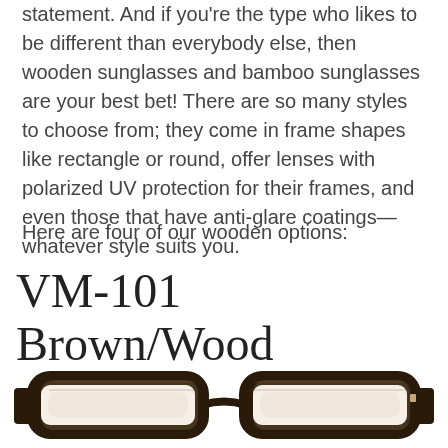statement. And if you're the type who likes to be different than everybody else, then wooden sunglasses and bamboo sunglasses are your best bet! There are so many styles to choose from; they come in frame shapes like rectangle or round, offer lenses with polarized UV protection for their frames, and even those that have anti-glare coatings—whatever style suits you.
Here are four of our wooden options:
VM-101 Brown/Wood
[Figure (photo): Bottom portion of a pair of brown/wood rectangular eyeglass frames shown from the front against a white background]